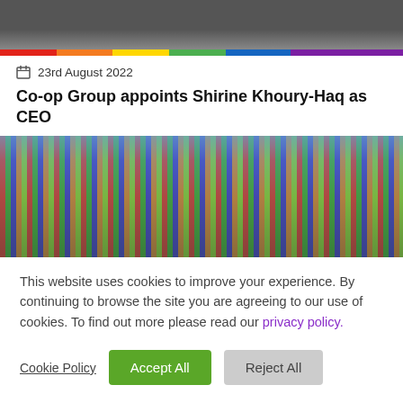[Figure (photo): Dark grayscale photo of a building/scene at the top of the page]
[Figure (other): Rainbow gradient bar separating header photo from content]
23rd August 2022
Co-op Group appoints Shirine Khoury-Haq as CEO
[Figure (photo): Aerial photograph of a shipping port with colourful cargo containers]
This website uses cookies to improve your experience. By continuing to browse the site you are agreeing to our use of cookies. To find out more please read our privacy policy.
Cookie Policy  Accept All  Reject All